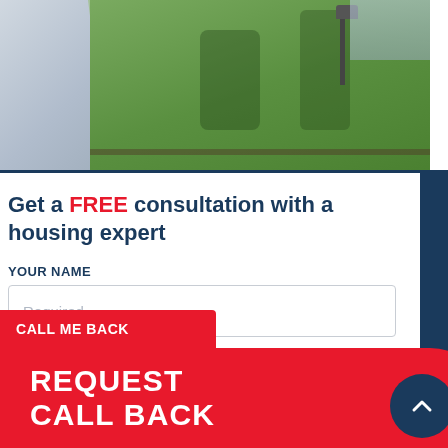[Figure (photo): Aerial view of a residential property with green garden/lawn, trees without leaves, grey roof/structure on left, and a street lamp. Dark blue sidebar on right edge.]
Get a FREE consultation with a housing expert
YOUR NAME
Required (input field placeholder)
PHONE NUMBER
Required (input field placeholder)
CALL ME BACK
REQUEST CALL BACK